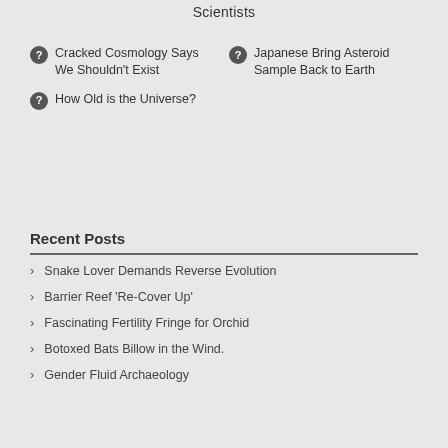Scientists
Cracked Cosmology Says We Shouldn't Exist
Japanese Bring Asteroid Sample Back to Earth
How Old is the Universe?
Recent Posts
Snake Lover Demands Reverse Evolution
Barrier Reef 'Re-Cover Up'
Fascinating Fertility Fringe for Orchid
Botoxed Bats Billow in the Wind.
Gender Fluid Archaeology